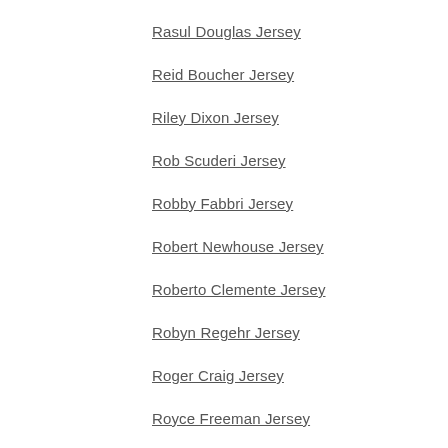Quenton Nelson Jersey
Rasul Douglas Jersey
Reid Boucher Jersey
Riley Dixon Jersey
Rob Scuderi Jersey
Robby Fabbri Jersey
Robert Newhouse Jersey
Roberto Clemente Jersey
Robyn Regehr Jersey
Roger Craig Jersey
Royce Freeman Jersey
Russell Martin Jersey
Ryan Allen Jersey
Ryan Suter Jersey